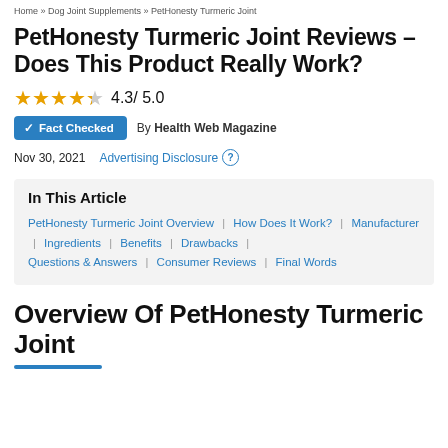Home » Dog Joint Supplements » PetHonesty Turmeric Joint
PetHonesty Turmeric Joint Reviews – Does This Product Really Work?
4.3 / 5.0 (star rating)
✓ Fact Checked   By Health Web Magazine
Nov 30, 2021   Advertising Disclosure ?
In This Article
PetHonesty Turmeric Joint Overview | How Does It Work? | Manufacturer | Ingredients | Benefits | Drawbacks | Questions & Answers | Consumer Reviews | Final Words
Overview Of PetHonesty Turmeric Joint